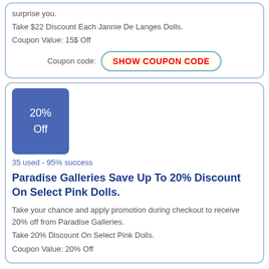surprise you.
Take $22 Discount Each Jannie De Langes Dolls.
Coupon Value: 15$ Off
Coupon code: SHOW COUPON CODE
20% Off
35 used - 95% success
Paradise Galleries Save Up To 20% Discount On Select Pink Dolls.
Take your chance and apply promotion during checkout to receive 20% off from Paradise Galleries.
Take 20% Discount On Select Pink Dolls.
Coupon Value: 20% Off